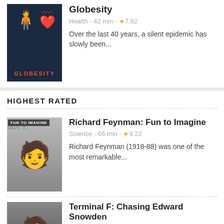[Figure (illustration): Globesity documentary thumbnail - dark blue background with overweight figure and red heart with ECG line, red GLOBESITY text]
Globesity
Health - 42 min - ★7.92
Over the last 40 years, a silent epidemic has slowly been...
HIGHEST RATED
[Figure (photo): Richard Feynman black and white photo with FUN TO IMAGINE text overlay]
Richard Feynman: Fun to Imagine
Science - 66 min - ★9.22
Richard Feynman (1918-88) was one of the most remarkable...
[Figure (photo): Edward Snowden photo with SNOWDENIS text at bottom]
Terminal F: Chasing Edward Snowden
Politics - 58 min - ★9.12
In late June of 2013, as United States leaders were...